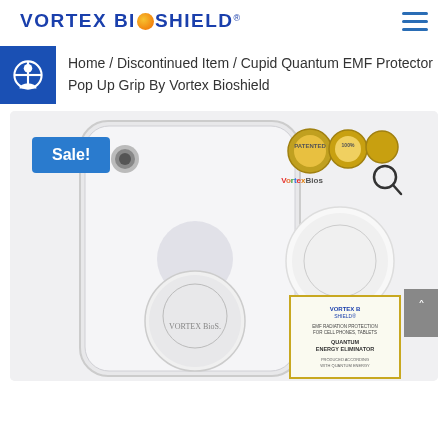VORTEX BIOSHIELD
Home / Discontinued Item / Cupid Quantum EMF Protector Pop Up Grip By Vortex Bioshield
[Figure (photo): Product photo showing a smartphone with a Cupid Quantum EMF Protector Pop Up Grip attached to the back, along with product badges and a certificate card. A blue 'Sale!' badge is shown in the upper left of the image.]